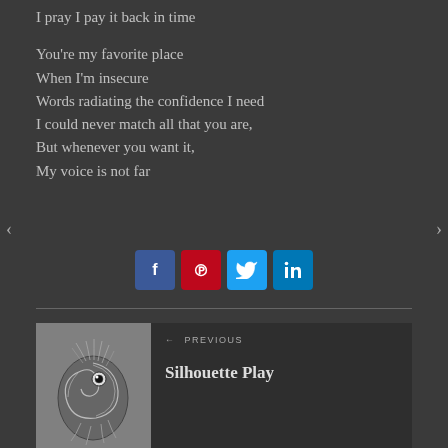I pray I pay it back in time
You're my favorite place
When I'm insecure
Words radiating the confidence I need
I could never match all that you are,
But whenever you want it,
My voice is not far
[Figure (infographic): Social share buttons: Facebook (blue), Pinterest (red), Twitter (light blue), LinkedIn (blue)]
[Figure (photo): Black and white illustration/photo of a nautilus or squid-like creature with eye visible, with decorative feathery lines]
← PREVIOUS
Silhouette Play